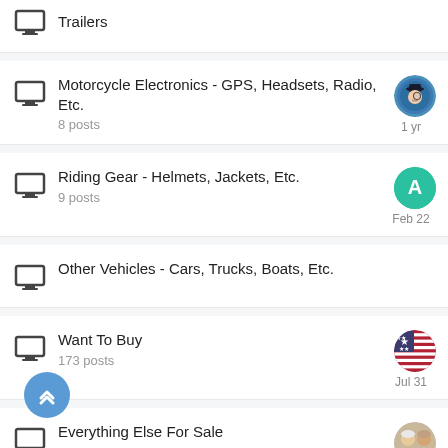Trailers
Motorcycle Electronics - GPS, Headsets, Radio, Etc.
8 posts
Riding Gear - Helmets, Jackets, Etc.
9 posts
Other Vehicles - Cars, Trucks, Boats, Etc.
Want To Buy
173 posts
Everything Else For Sale
17 posts